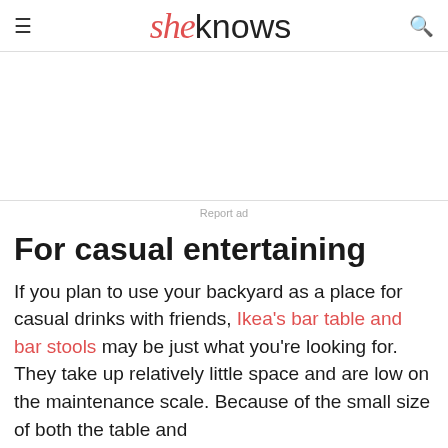sheknows
Report ad
For casual entertaining
If you plan to use your backyard as a place for casual drinks with friends, Ikea's bar table and bar stools may be just what you're looking for. They take up relatively little space and are low on the maintenance scale. Because of the small size of both the table and